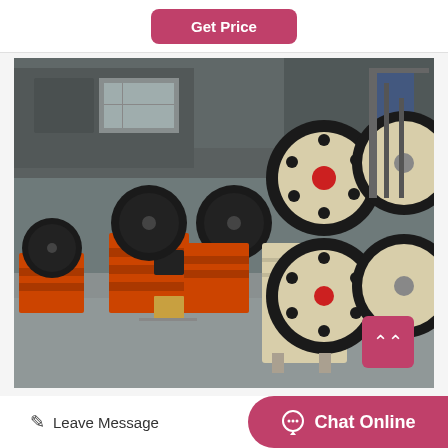Get Price
[Figure (photo): Industrial jaw crushers in a factory warehouse. Left side shows orange/red jaw crushers with black flywheels. Right side shows larger beige/cream jaw crushers with large black flywheels with red centers, arranged in a row inside a steel-framed building.]
250tph limestone crushi
Leave Message
Chat Online